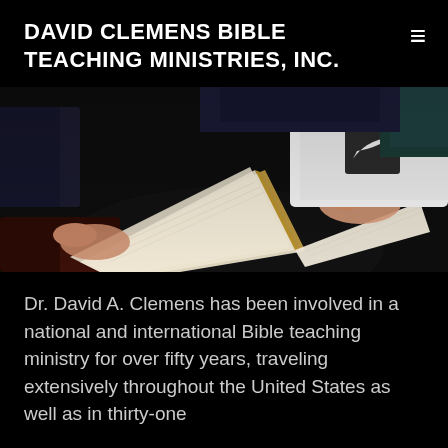DAVID CLEMENS BIBLE TEACHING MINISTRIES, INC.
[Figure (photo): Close-up photograph of hands holding open a Bible with thin pages fanned out, person wearing a white shirt with a dark Nike logo patch visible in the upper right]
Dr. David A. Clemens has been involved in a national and international Bible teaching ministry for over fifty years, traveling extensively throughout the United States as well as in thirty-one